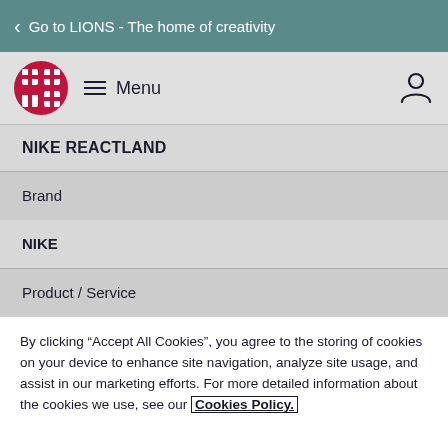Go to LIONS - The home of creativity
[Figure (logo): Cannes Lions logo - red and white grid/cross symbol in a circle]
Menu
NIKE REACTLAND
Brand
NIKE
Product / Service
By clicking “Accept All Cookies”, you agree to the storing of cookies on your device to enhance site navigation, analyze site usage, and assist in our marketing efforts. For more detailed information about the cookies we use, see our Cookies Policy.